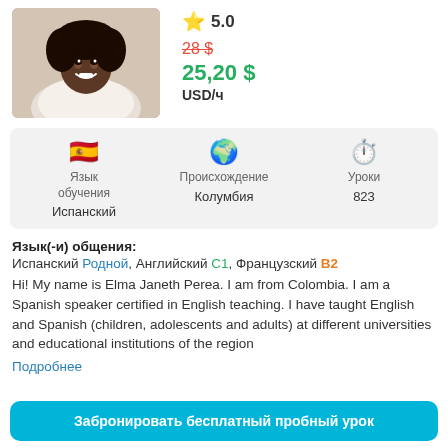[Figure (photo): Profile photo of Elma Janeth Perea, a woman with curly hair, smiling, wearing a white lace top.]
5.0
28 $ (strikethrough old price)
25,20 $
USD/ч
| Язык обучения | Происхождение | Уроки |
| --- | --- | --- |
| Испанский | Колумбия | 823 |
Язык(-и) общения:
Испанский Родной, Английский C1, Французский B2
Hi! My name is Elma Janeth Perea. I am from Colombia. I am a Spanish speaker certified in English teaching. I have taught English and Spanish (children, adolescents and adults) at different universities and educational institutions of the region
Подробнее
Забронировать бесплатный пробный урок